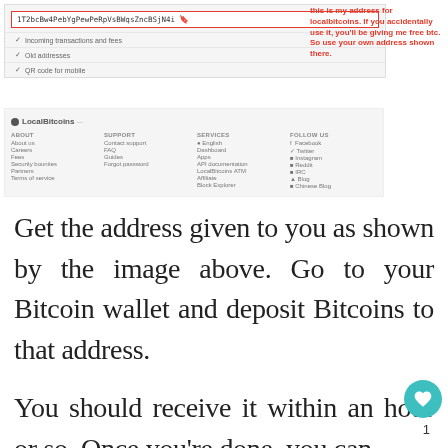[Figure (screenshot): Screenshot of a LocalBitcoins wallet page showing a Bitcoin address field highlighted with a red border, rows for incoming transactions, old addresses, and QR code for mobile. Below is the LocalBitcoins footer with About, Support, Services, and Follow Us columns.]
this is my address for localbitcoins. If you accidentally use it, you'll be giving me free btc. So use your own address shown there.
Get the address given to you as shown by the image above. Go to your Bitcoin wallet and deposit Bitcoins to that address.
You should receive it within an hour or so. Once you're done, you can